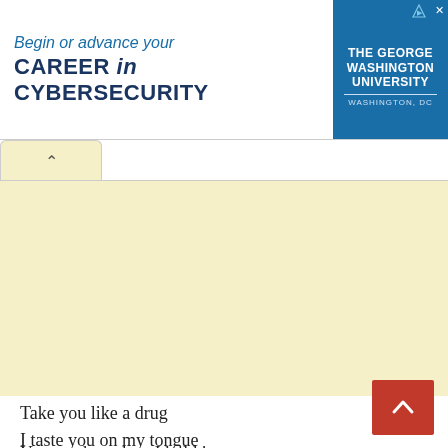[Figure (other): Advertisement banner for The George Washington University cybersecurity program. Left side shows text 'Begin or advance your CAREER in CYBERSECURITY' in blue. Right side shows blue panel with university name and Washington DC tagline.]
Take you like a drug
I taste you on my tongue
You can be a drug I hold in my...